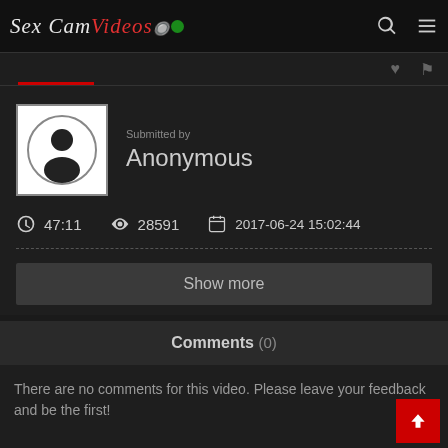Sex Cam Videos
Submitted by
Anonymous
47:11   28591   2017-06-24 15:02:44
Show more
Comments (0)
There are no comments for this video. Please leave your feedback and be the first!